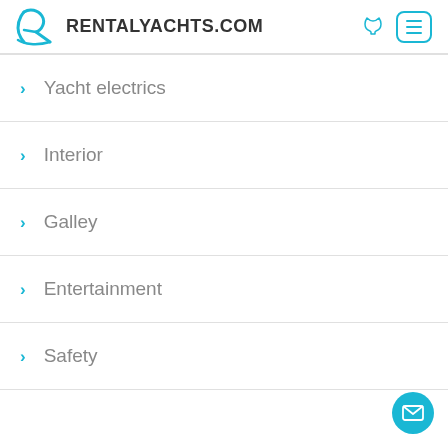RENTALYACHTS.COM
Yacht electrics
Interior
Galley
Entertainment
Safety